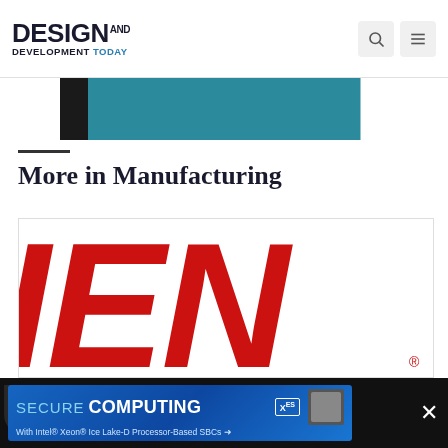DESIGN AND DEVELOPMENT TODAY
[Figure (other): Partial teal/dark banner advertisement strip below the header]
More in Manufacturing
[Figure (logo): Large IEN (Industrial Equipment News) logo in red italic bold letters on white background, partially cropped. Below are large black partial letters.]
[Figure (infographic): Bottom advertisement bar: dark background with blue ad reading 'SECURE COMPUTING With Intel® Xeon® Ice Lake-D Processor-Based SBCs' with XES logo, and an X close button on the right.]